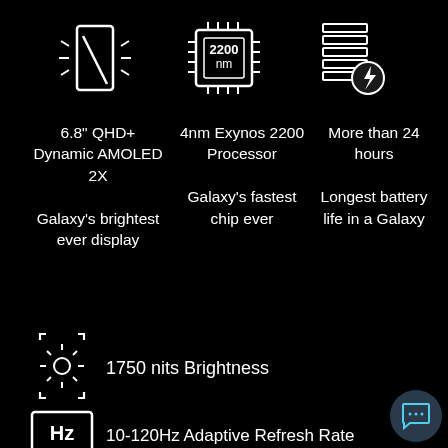[Figure (infographic): Three white outline icons: display/phone icon, processor chip icon with '2200 nm', battery with lightning bolt icon]
6.8" QHD+ Dynamic AMOLED 2X

Galaxy's brightest ever display
4nm Exynos 2200 Processor

Galaxy's fastest chip ever
More than 24 hours

Longest battery life in a Galaxy
[Figure (infographic): White outline brightness icon (sun with arrows)]
1750 nits Brightness
[Figure (infographic): White outline Hz box icon]
10-120Hz Adaptive Refresh Rate